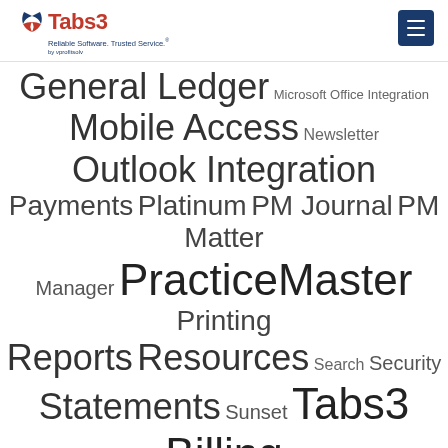Tabs3 – Reliable Software. Trusted Service. by ProfitSolv
General Ledger Microsoft Office Integration Mobile Access Newsletter Outlook Integration Payments Platinum PM Journal PM Matter Manager PracticeMaster Printing Reports Resources Search Security Statements Sunset Tabs3 Billing Tabs3 Connect Tabs3Pay Timekeepers Trust Accounting Users Version 18 Version 19 Version 2020 Version 2021 Version 2022 WorkFlows Write Offs